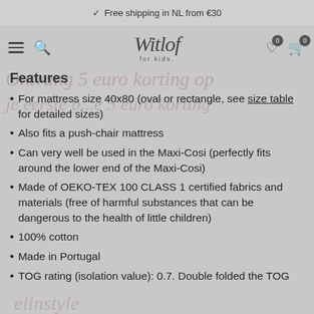✓ Free shipping in NL from €30
Features
For mattress size 40x80 (oval or rectangle, see size table for detailed sizes)
Also fits a push-chair mattress
Can very well be used in the Maxi-Cosi (perfectly fits around the lower end of the Maxi-Cosi)
Made of OEKO-TEX 100 CLASS 1 certified fabrics and materials (free of harmful substances that can be dangerous to the health of little children)
100% cotton
Made in Portugal
TOG rating (isolation value): 0.7. Double folded the TOG rating is 1.4